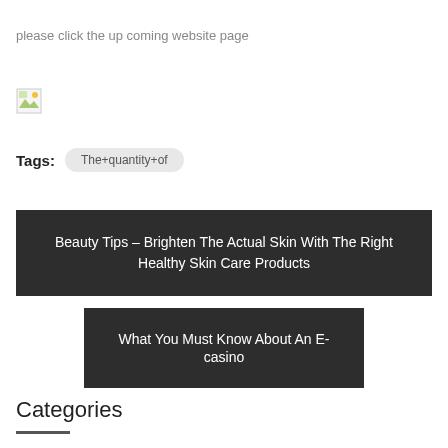please click the up coming website page
[Figure (illustration): Broken image icon (small document/image placeholder)]
Tags: The+quantity+of
Beauty Tips – Brighten The Actual Skin With The Right Healthy Skin Care Products
What You Must Know About An E-casino
Categories